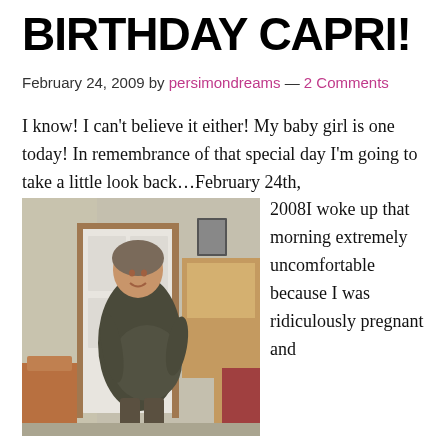BIRTHDAY CAPRI!
February 24, 2009 by persimondreams — 2 Comments
I know! I can't believe it either! My baby girl is one today! In remembrance of that special day I'm going to take a little look back…February 24th, 2008I woke up that morning extremely uncomfortable because I was ridiculously pregnant and baby girl was hanging out with her feet jammed
[Figure (photo): A pregnant woman standing in a hallway near a white door, smiling at the camera, wearing a dark outfit.]